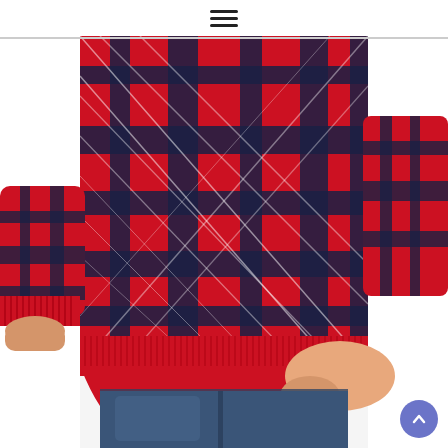[Figure (screenshot): Mobile e-commerce website screenshot showing a hamburger menu icon at the top center on a white background, followed by a product photo of a woman wearing a red and navy blue plaid/tartan knit sweater with white accents, paired with blue jeans. The sweater has ribbed cuffs and hem. A blue circular scroll-to-top arrow button is visible in the bottom right corner.]